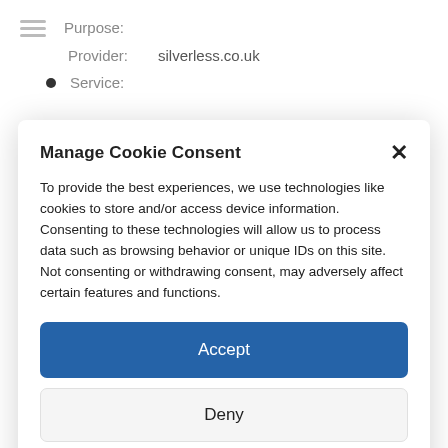Purpose: ___________
Provider: silverless.co.uk
Service: ___________
Manage Cookie Consent
To provide the best experiences, we use technologies like cookies to store and/or access device information. Consenting to these technologies will allow us to process data such as browsing behavior or unique IDs on this site. Not consenting or withdrawing consent, may adversely affect certain features and functions.
Accept
Deny
View preferences
Privacy Policy  Privacy Policy